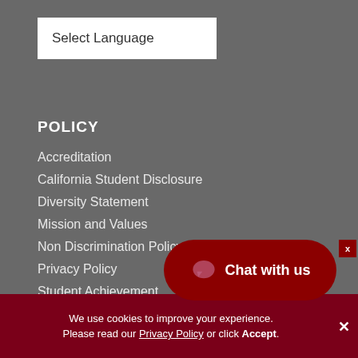Select Language
POLICY
Accreditation
California Student Disclosure
Diversity Statement
Mission and Values
Non Discrimination Policy
Privacy Policy
Student Achievement
Title IX Policy and Proce…
[Figure (other): Chat with us button overlay — a dark red rounded pill button with a chat bubble icon and text 'Chat with us']
We use cookies to improve your experience. Please read our Privacy Policy or click Accept.